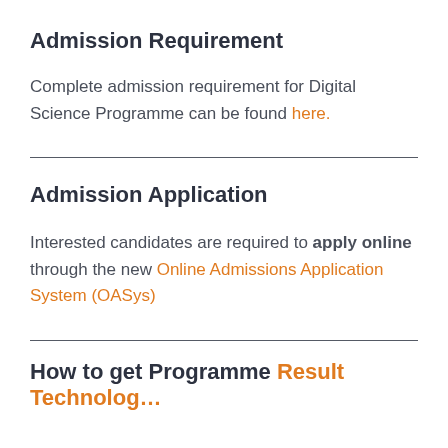Admission Requirement
Complete admission requirement for Digital Science Programme can be found here.
Admission Application
Interested candidates are required to apply online through the new Online Admissions Application System (OASys)
How to get Programme Result Technolog…